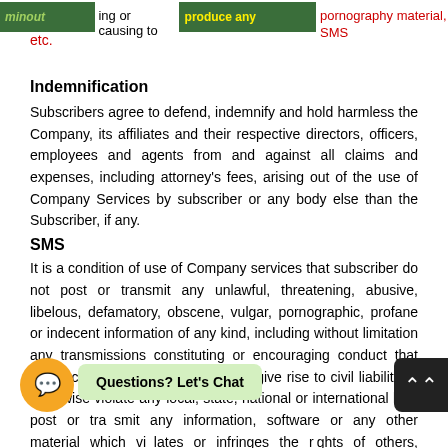[Figure (screenshot): Top bar with green highlighted/redacted text blocks and red text reading 'pornography material, SMS etc.']
Indemnification
Subscribers agree to defend, indemnify and hold harmless the Company, its affiliates and their respective directors, officers, employees and agents from and against all claims and expenses, including attorney's fees, arising out of the use of Company Services by subscriber or any body else than the Subscriber, if any.
SMS
It is a condition of use of Company services that subscriber do not post or transmit any unlawful, threatening, abusive, libelous, defamatory, obscene, vulgar, pornographic, profane or indecent information of any kind, including without limitation any transmissions constituting or encouraging conduct that would constitute a criminal offence, give rise to civil liability or otherwise violate any local, state, national or international law; post or transmit any information, software or any other material which violates or infringes the rights of others, including material which is an invasion of privacy or publicity rights or which is protected by copyright, trademark or other proprietary right.